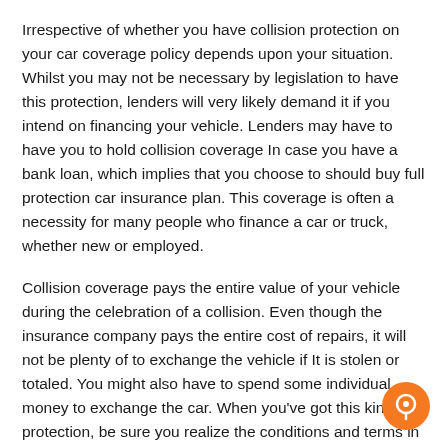Irrespective of whether you have collision protection on your car coverage policy depends upon your situation. Whilst you may not be necessary by legislation to have this protection, lenders will very likely demand it if you intend on financing your vehicle. Lenders may have to have you to hold collision coverage In case you have a bank loan, which implies that you choose to should buy full protection car insurance plan. This coverage is often a necessity for many people who finance a car or truck, whether new or employed.
Collision coverage pays the entire value of your vehicle during the celebration of a collision. Even though the insurance company pays the entire cost of repairs, it will not be plenty of to exchange the vehicle if It is stolen or totaled. You might also have to spend some individual money to exchange the car. When you've got this kind of protection, be sure you realize the conditions and terms in advance of obtaining car or truck insurance coverage. You should also fully grasp the deductible, that's individual from your